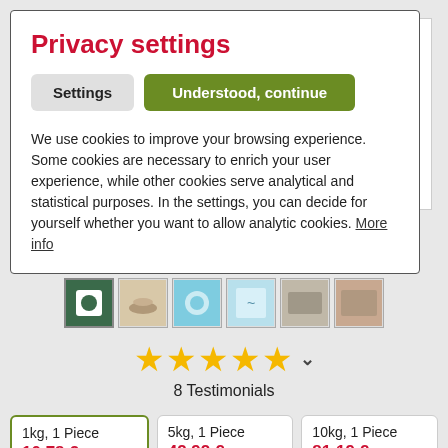Privacy settings
Settings
Understood, continue
We use cookies to improve your browsing experience. Some cookies are necessary to enrich your user experience, while other cookies serve analytical and statistical purposes. In the settings, you can decide for yourself whether you want to allow analytic cookies. More info
[Figure (photo): Row of six product thumbnail images]
8 Testimonials
| Size | Price |
| --- | --- |
| 1kg, 1 Piece | 10.78 € |
| 5kg, 1 Piece | 42.92 € |
| 10kg, 1 Piece | 81.19 € |